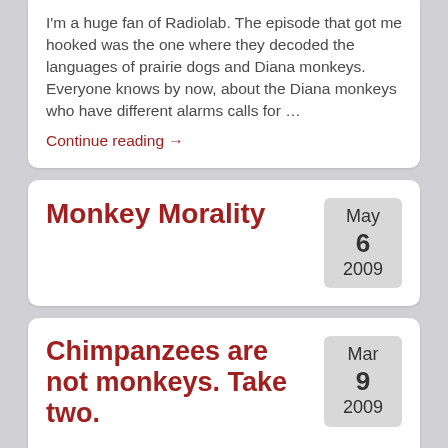I'm a huge fan of Radiolab. The episode that got me hooked was the one where they decoded the languages of prairie dogs and Diana monkeys. Everyone knows by now, about the Diana monkeys who have different alarms calls for …
Continue reading →
Monkey Morality
May 6 2009
Chimpanzees are not monkeys. Take two.
Mar 9 2009
Think about this when you see chimpanzees drinking tea and playing pianos on TV.